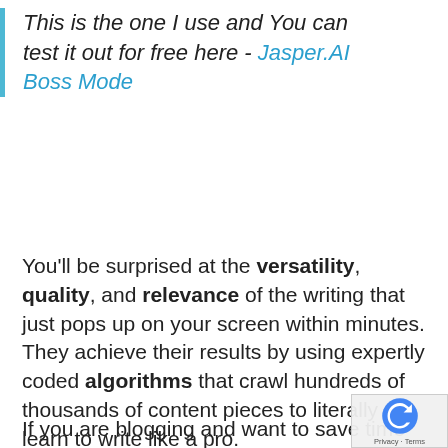This is the one I use and You can test it out for free here - Jasper.AI Boss Mode
You'll be surprised at the versatility, quality, and relevance of the writing that just pops up on your screen within minutes.
They achieve their results by using expertly coded algorithms that crawl hundreds of thousands of content pieces to literally learn to write like a pro.
If you are blogging and want to save time and boost your productivity, AI writing assist like the ones I am sharing with you will